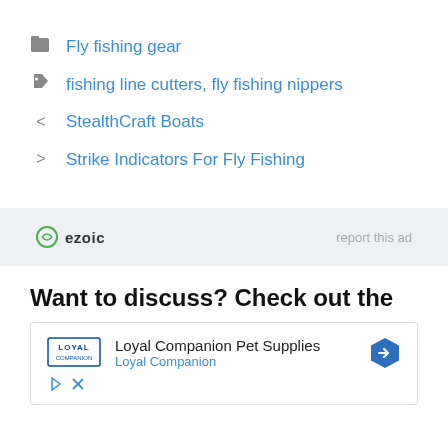Fly fishing gear
fishing line cutters, fly fishing nippers
StealthCraft Boats
Strike Indicators For Fly Fishing
[Figure (other): Ezoic advertisement banner with 'report this ad' link]
Want to discuss? Check out the
[Figure (other): Loyal Companion Pet Supplies advertisement with logo and navigation arrow]